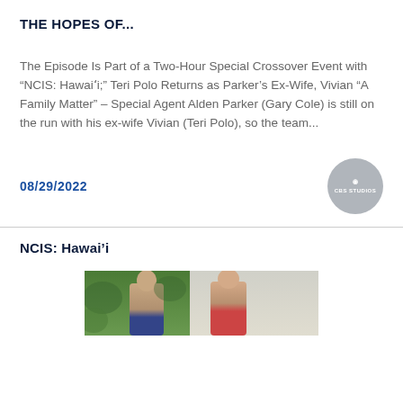THE HOPES OF...
The Episode Is Part of a Two-Hour Special Crossover Event with “NCIS: Hawai‘i;” Teri Polo Returns as Parker’s Ex-Wife, Vivian “A Family Matter” – Special Agent Alden Parker (Gary Cole) is still on the run with his ex-wife Vivian (Teri Polo), so the team...
08/29/2022
[Figure (logo): CBS Studios circular badge logo]
NCIS: Hawai’i
[Figure (photo): Photo of two people, partially visible at bottom of page]